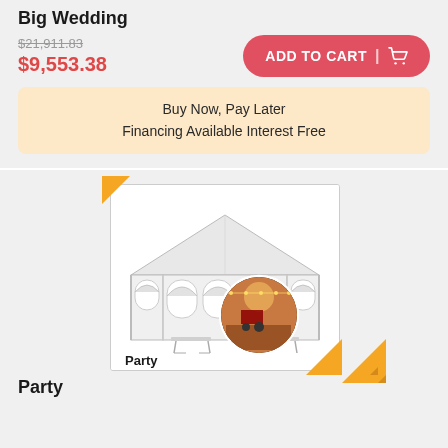Big Wedding
$21,911.83
$9,553.38
ADD TO CART
Buy Now, Pay Later
Financing Available Interest Free
[Figure (photo): A large white party tent with arched windows, folding tables and chairs visible underneath, with a circular inset photo showing decorated interior with warm string lights]
Party
Party